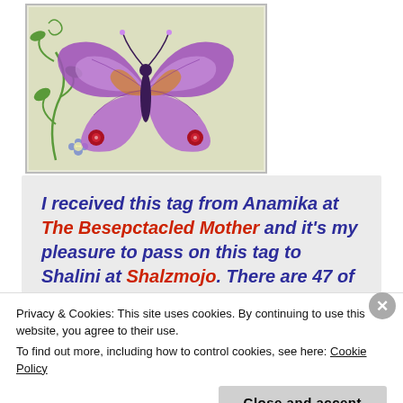[Figure (illustration): A purple butterfly illustration with decorative green vines and blue flowers on a light greenish-beige background, framed with a thin gray border.]
I received this tag from Anamika at The Besepctacled Mother and it's my pleasure to pass on this tag to Shalini at Shalzmojo. There are 47 of us on this
Privacy & Cookies: This site uses cookies. By continuing to use this website, you agree to their use.
To find out more, including how to control cookies, see here: Cookie Policy
Close and accept